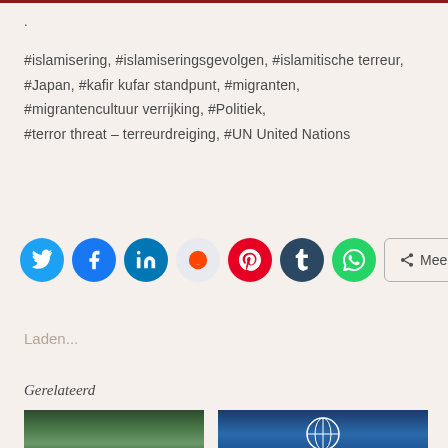.
#islamisering, #islamiseringsgevolgen, #islamitische terreur, #Japan, #kafir kufar standpunt, #migranten, #migrantencultuur verrijking, #Politiek, #terror threat – terreurdreiging, #UN United Nations
[Figure (other): Social media sharing buttons: Twitter, Facebook, LinkedIn, Reddit, Pinterest, Tumblr, WhatsApp, and a Meer (More) button]
Laden...
Gerelateerd
[Figure (photo): Thumbnail image showing trees/forest]
[Figure (photo): Thumbnail image showing UN related content with blue background]